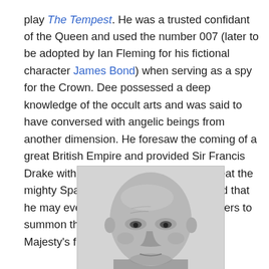play The Tempest. He was a trusted confidant of the Queen and used the number 007 (later to be adopted by Ian Fleming for his fictional character James Bond) when serving as a spy for the Crown. Dee possessed a deep knowledge of the occult arts and was said to have conversed with angelic beings from another dimension. He foresaw the coming of a great British Empire and provided Sir Francis Drake with tactical advice on how to defeat the mighty Spanish Armada in 1588. It is said that he may even have used his magical powers to summon the storm which assisted Her Majesty's fleet.
[Figure (photo): Black and white portrait photograph of a bald man with prominent features, looking forward]